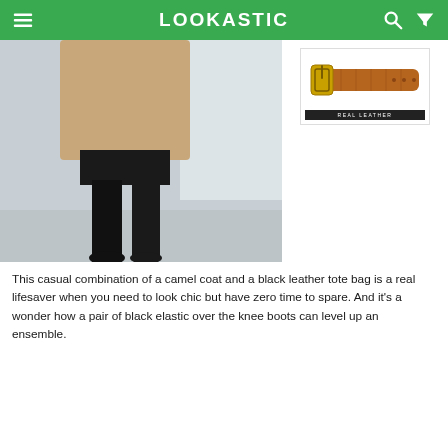LOOKASTIC
[Figure (photo): Fashion photo showing a person wearing a camel coat, black mini skirt, and black elastic over-the-knee boots, standing on a concrete surface outdoors]
[Figure (photo): Product image of a brown/tan leather belt with gold buckle on white background, with a dark label bar below reading 'REAL LEATHER']
This casual combination of a camel coat and a black leather tote bag is a real lifesaver when you need to look chic but have zero time to spare. And it's a wonder how a pair of black elastic over the knee boots can level up an ensemble.